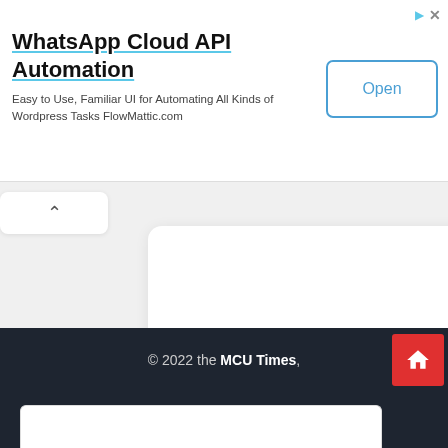[Figure (screenshot): Advertisement banner for WhatsApp Cloud API Automation by FlowMattic.com with Open button]
WhatsApp Cloud API Automation
Easy to Use, Familiar UI for Automating All Kinds of Wordpress Tasks FlowMattic.com
For MCU Movie Review's And Rating's Click Here
© 2022 the MCU Times,